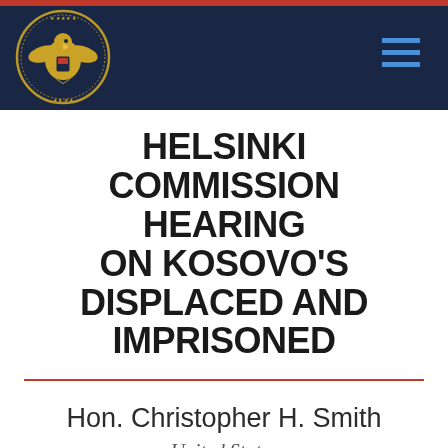[Figure (logo): Commission on Security and Cooperation in Europe seal/logo — gold eagle emblem on dark navy background header bar]
HELSINKI COMMISSION HEARING ON KOSOVO'S DISPLACED AND IMPRISONED
Hon. Christopher H. Smith
United States
House of Representatives